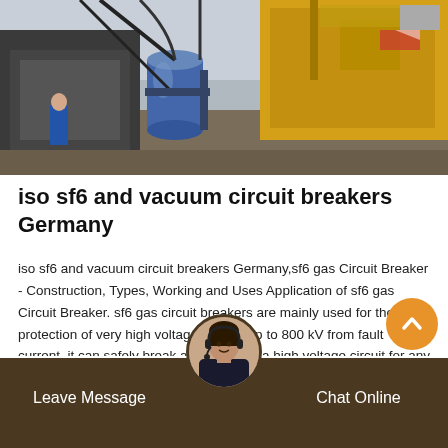[Figure (photo): Industrial outdoor scene showing yellow heavy equipment/machinery, cables, and industrial infrastructure under overcast sky.]
iso sf6 and vacuum circuit breakers Germany
iso sf6 and vacuum circuit breakers Germany,sf6 gas Circuit Breaker - Construction, Types, Working and Uses Application of sf6 gas Circuit Breaker. sf6 gas circuit breakers are mainly used for the protection of very high voltage circuits up to 800 kV from fault current. it can safely break and depower a high voltage circuit for any kind of inspection or maintenance. Each interrupter unit is capable of handling 60 kA in the range of 80 kV.
Leave Message   Chat Online